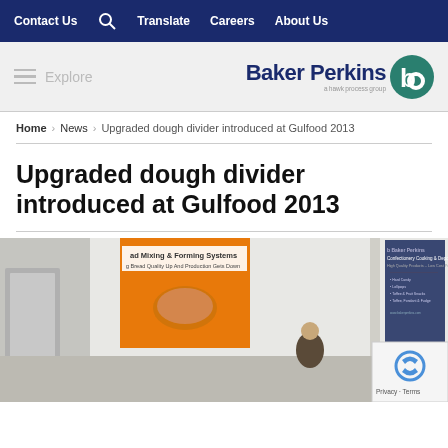Contact Us  Translate  Careers  About Us
[Figure (logo): Baker Perkins logo with hammockprocessgroup tagline and circular 'b' icon in teal]
Home > News > Upgraded dough divider introduced at Gulfood 2013
Upgraded dough divider introduced at Gulfood 2013
[Figure (photo): Baker Perkins trade show booth at Gulfood 2013 showing Bread Mixing & Forming Systems banner and Confectionery Cooking & Depositing banner, with a person visible at the booth]